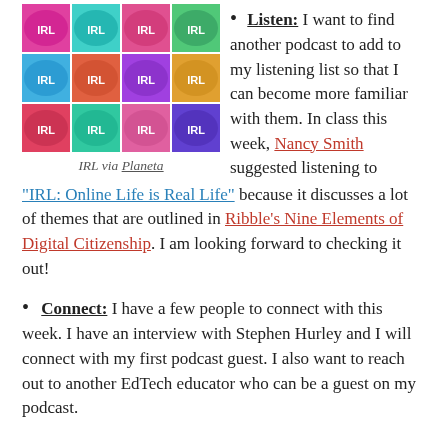[Figure (illustration): Grid of IRL podcast cover images showing the letters IRL in white on colorful abstract backgrounds arranged in a 3x4 grid]
IRL via Planeta
Listen: I want to find another podcast to add to my listening list so that I can become more familiar with them. In class this week, Nancy Smith suggested listening to "IRL: Online Life is Real Life" because it discusses a lot of themes that are outlined in Ribble's Nine Elements of Digital Citizenship. I am looking forward to checking it out!
Connect: I have a few people to connect with this week. I have an interview with Stephen Hurley and I will connect with my first podcast guest. I also want to reach out to another EdTech educator who can be a guest on my podcast.